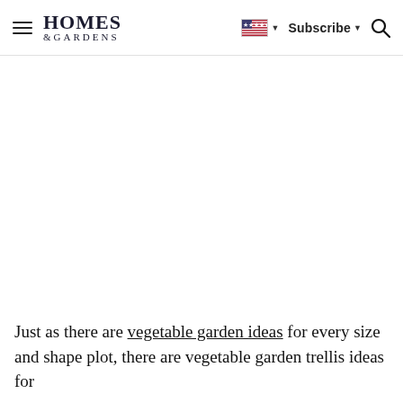Homes & Gardens — Subscribe
Just as there are vegetable garden ideas for every size and shape plot, there are vegetable garden trellis ideas for